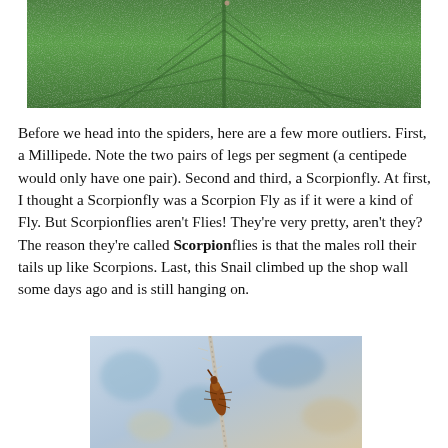[Figure (photo): Close-up macro photograph of a large green leaf showing detailed vein texture and surface texture.]
Before we head into the spiders, here are a few more outliers. First, a Millipede. Note the two pairs of legs per segment (a centipede would only have one pair). Second and third, a Scorpionfly. At first, I thought a Scorpionfly was a Scorpion Fly as if it were a kind of Fly. But Scorpionflies aren't Flies! They're very pretty, aren't they? The reason they're called Scorpionflies is that the males roll their tails up like Scorpions. Last, this Snail climbed up the shop wall some days ago and is still hanging on.
[Figure (photo): Close-up macro photograph of a brown insect (scorpionfly or similar) clinging to a thin stem or branch, with a blurred blue and beige background.]